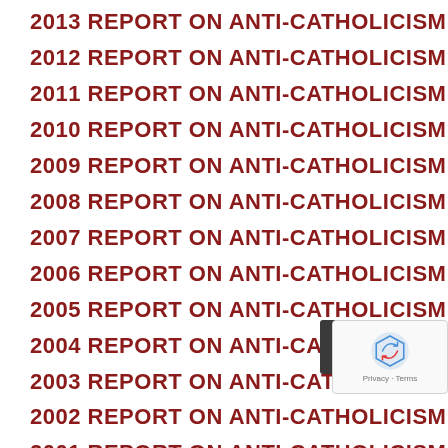2013 REPORT ON ANTI-CATHOLICISM
2012 REPORT ON ANTI-CATHOLICISM
2011 REPORT ON ANTI-CATHOLICISM
2010 REPORT ON ANTI-CATHOLICISM
2009 REPORT ON ANTI-CATHOLICISM
2008 REPORT ON ANTI-CATHOLICISM
2007 REPORT ON ANTI-CATHOLICISM
2006 REPORT ON ANTI-CATHOLICISM
2005 REPORT ON ANTI-CATHOLICISM
2004 REPORT ON ANTI-CATHOLICISM
2003 REPORT ON ANTI-CATHOLICISM
2002 REPORT ON ANTI-CATHOLICISM
2001 REPORT ON ANTI-CATHOLICISM
2000 REPORT ON ANTI-CATHOLICISM